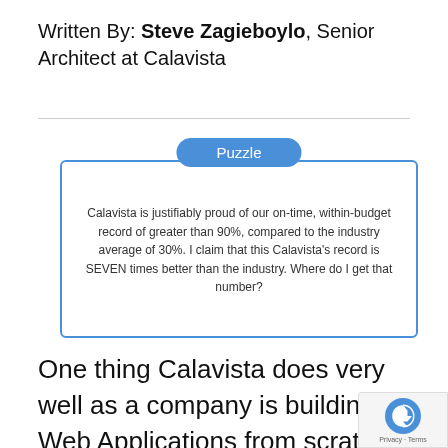Written By: Steve Zagieboylo, Senior Architect at Calavista
[Figure (infographic): A blue-bordered box with a blue rounded rectangle label 'Puzzle' at the top center, containing centered italic text: 'Calavista is justifiably proud of our on-time, within-budget record of greater than 90%, compared to the industry average of 30%. I claim that this Calavista's record is SEVEN times better than the industry. Where do I get that number?']
One thing Calavista does very well as a company is building Web Applications from scratch. If you have a great idea for an application and you plan to bet your life savings on building a company around it,